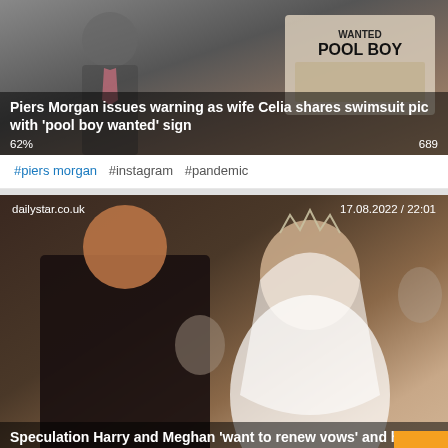[Figure (photo): News article card: photo of Piers Morgan with 'WANTED POOL BOY' sign visible. Headline overlay: 'Piers Morgan issues warning as wife Celia shares swimsuit pic with pool boy wanted sign'. Metrics: 62%, 689.]
#piers morgan  #instagram  #pandemic
[Figure (photo): News article card: photo of Prince Harry and Meghan Markle at their wedding. Source: dailystar.co.uk, date: 17.08.2022 / 22:01. Headline: 'Speculation Harry and Meghan want to renew vows and have second honeymoon'. Metrics: 66%, 895.]
#nick jonas  #prince harry  #meghan markle  #pier...